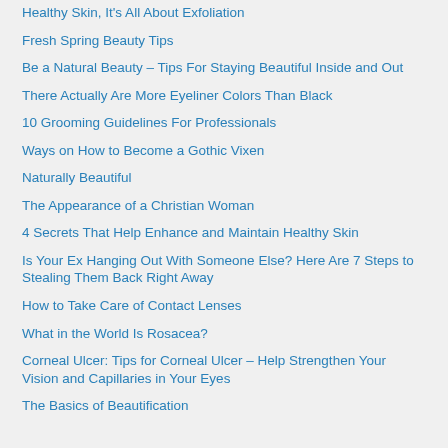Healthy Skin, It's All About Exfoliation
Fresh Spring Beauty Tips
Be a Natural Beauty – Tips For Staying Beautiful Inside and Out
There Actually Are More Eyeliner Colors Than Black
10 Grooming Guidelines For Professionals
Ways on How to Become a Gothic Vixen
Naturally Beautiful
The Appearance of a Christian Woman
4 Secrets That Help Enhance and Maintain Healthy Skin
Is Your Ex Hanging Out With Someone Else? Here Are 7 Steps to Stealing Them Back Right Away
How to Take Care of Contact Lenses
What in the World Is Rosacea?
Corneal Ulcer: Tips for Corneal Ulcer – Help Strengthen Your Vision and Capillaries in Your Eyes
The Basics of Beautification